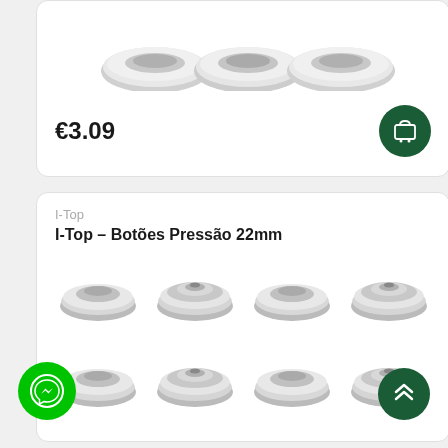[Figure (photo): Silver snap buttons product image (partial, top of card)]
€3.09
[Figure (other): Dark green circular add-to-cart button with shopping cart icon]
I-Top
I-Top – Botões Pressão 22mm
[Figure (photo): Grid of 8 silver snap button components (caps and sockets) arranged in 2 rows of 4]
[Figure (other): Green circular Messenger chat button]
[Figure (other): Dark green circular scroll-to-top button with double chevron up icon]